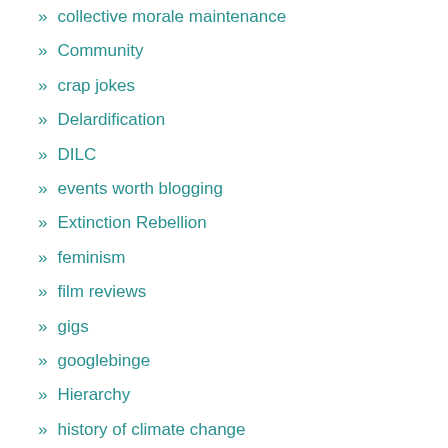collective morale maintenance
Community
crap jokes
Delardification
DILC
events worth blogging
Extinction Rebellion
feminism
film reviews
gigs
googlebinge
Hierarchy
history of climate change
Incumbency
Innovation